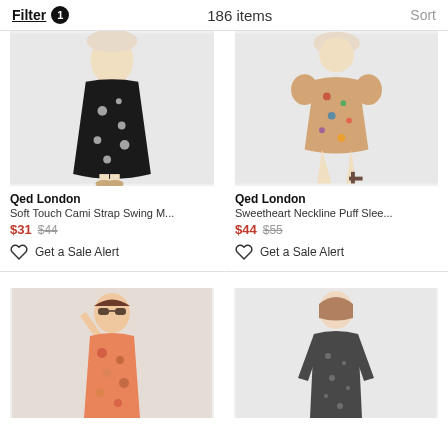Filter 1   186 items   Sort
[Figure (photo): Model wearing Qed London black floral Soft Touch Cami Strap Swing Midi dress with sandals]
Qed London
Soft Touch Cami Strap Swing M...
$31 $44
Get a Sale Alert
[Figure (photo): Model wearing Qed London multicolor floral Sweetheart Neckline Puff Sleeve dress, seated on chair]
Qed London
Sweetheart Neckline Puff Slee...
$44 $55
Get a Sale Alert
[Figure (photo): Model wearing orange/coral floral mini dress with sunglasses]
[Figure (photo): Model wearing dark grey/black floral long-sleeve midi dress]